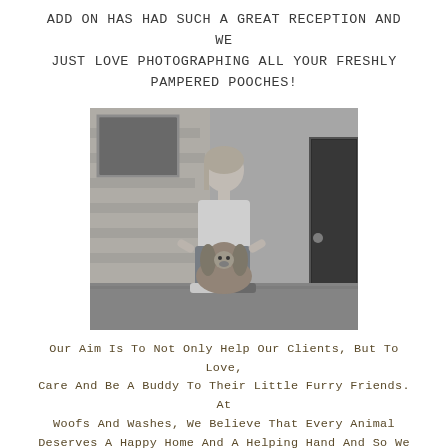ADD ON HAS HAD SUCH A GREAT RECEPTION AND WE JUST LOVE PHOTOGRAPHING ALL YOUR FRESHLY PAMPERED POOCHES!
[Figure (photo): Black and white photo of a young woman crouching down next to a spaniel dog in front of a stone building with a dark door.]
Our aim is to not only help our clients, but to love, care and be a buddy to their little furry friends. At Woofs and Washes, we believe that every animal deserves a happy home and a helping hand and so we will be making regular donations to Animal Charities.